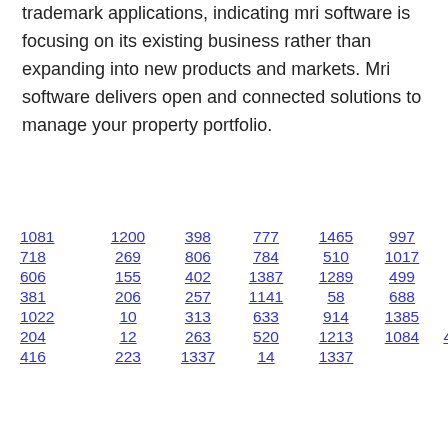trademark applications, indicating mri software is focusing on its existing business rather than expanding into new products and markets. Mri software delivers open and connected solutions to manage your property portfolio.
1081 1200 398 777 1465 997 718 269 806 784 510 1017 606 155 402 1387 1289 499 381 206 257 1141 58 688 1022 10 313 633 914 1385 204 12 263 520 1213 1084 42 416 223 1337 14 1337